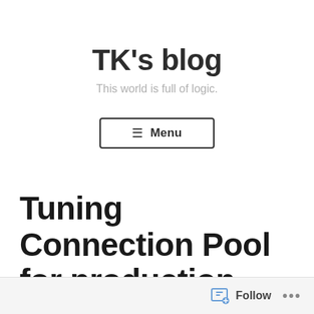TK's blog
This world is full of logic.
☰ Menu
Tuning Connection Pool for production system
TK · Tempest · November 2, 2018
Follow ...